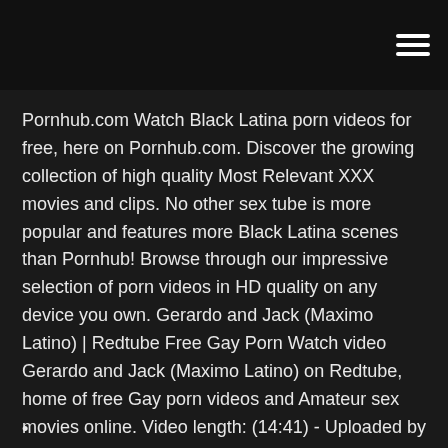Pornhub.com Watch Black Latina porn videos for free, here on Pornhub.com. Discover the growing collection of high quality Most Relevant XXX movies and clips. No other sex tube is more popular and features more Black Latina scenes than Pornhub! Browse through our impressive selection of porn videos in HD quality on any device you own. Gerardo and Jack (Maximo Latino) | Redtube Free Gay Porn Watch video Gerardo and Jack (Maximo Latino) on Redtube, home of free Gay porn videos and Amateur sex movies online. Video length: (14:41) - Uploaded by xxxgayporn - Starring: Hot amateurs gone wild in this Amateur, Anal Sex video. 21 Black Jack Online Castellano Hd - Icomanpeliculas